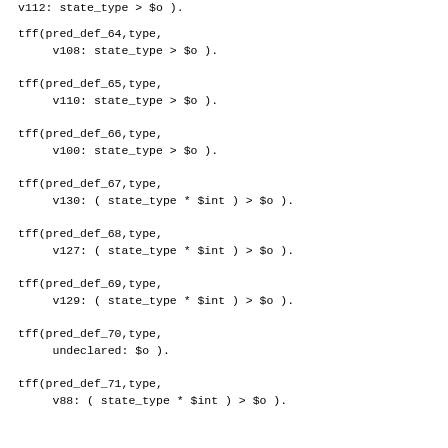v112: state_type > $o ).
tff(pred_def_64,type,
     v108: state_type > $o ).
tff(pred_def_65,type,
     v110: state_type > $o ).
tff(pred_def_66,type,
     v100: state_type > $o ).
tff(pred_def_67,type,
     v130: ( state_type * $int ) > $o ).
tff(pred_def_68,type,
     v127: ( state_type * $int ) > $o ).
tff(pred_def_69,type,
     v129: ( state_type * $int ) > $o ).
tff(pred_def_70,type,
     undeclared: $o ).
tff(pred_def_71,type,
     v88: ( state_type * $int ) > $o ).
tff(pred_def_72,type,
     v86: state_type > $o ).
tff(pred_def_73,type,
     v100: state_type > $o ).